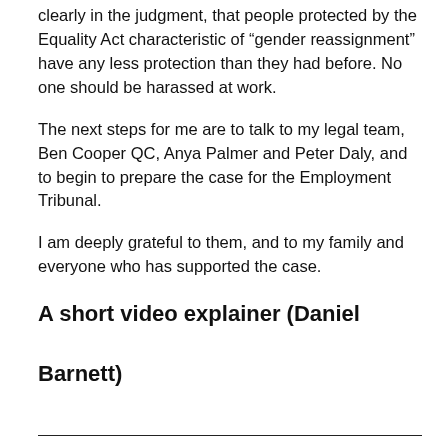clearly in the judgment, that people protected by the Equality Act characteristic of “gender reassignment” have any less protection than they had before. No one should be harassed at work.
The next steps for me are to talk to my legal team, Ben Cooper QC, Anya Palmer and Peter Daly, and to begin to prepare the case for the Employment Tribunal.
I am deeply grateful to them, and to my family and everyone who has supported the case.
A short video explainer (Daniel Barnett)